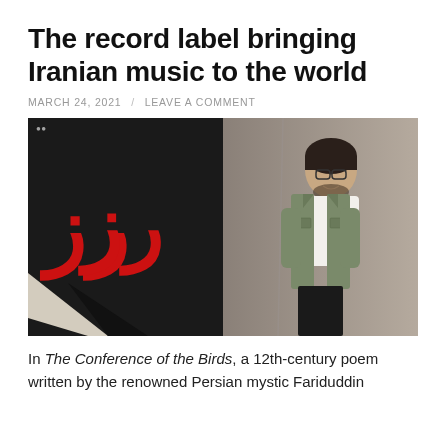The record label bringing Iranian music to the world
MARCH 24, 2021  /  LEAVE A COMMENT
[Figure (photo): Split image: left half shows a dark/black background with red Arabic/Persian script (رُز) and geometric angular shapes; right half shows a young man with glasses and a beard wearing a white t-shirt under a green army-style jacket, standing against a concrete wall.]
In The Conference of the Birds, a 12th-century poem written by the renowned Persian mystic Fariduddin